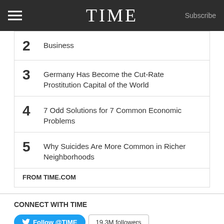TIME  Subscribe
2  Business
3  Germany Has Become the Cut-Rate Prostitution Capital of the World
4  7 Odd Solutions for 7 Common Economic Problems
5  Why Suicides Are More Common in Richer Neighborhoods
FROM TIME.COM
CONNECT WITH TIME
Follow @TIME  19.3M followers